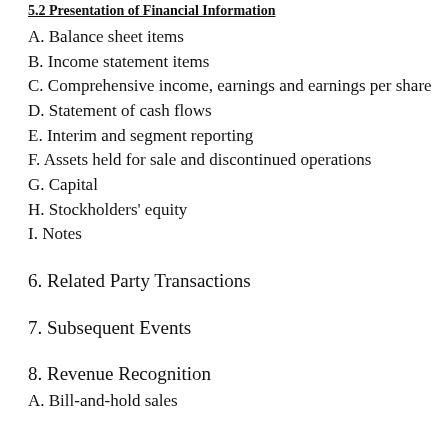5.2 Presentation of Financial Information
A. Balance sheet items
B. Income statement items
C. Comprehensive income, earnings and earnings per share
D. Statement of cash flows
E. Interim and segment reporting
F. Assets held for sale and discontinued operations
G. Capital
H. Stockholders' equity
I. Notes
6. Related Party Transactions
7. Subsequent Events
8. Revenue Recognition
A. Bill-and-hold sales